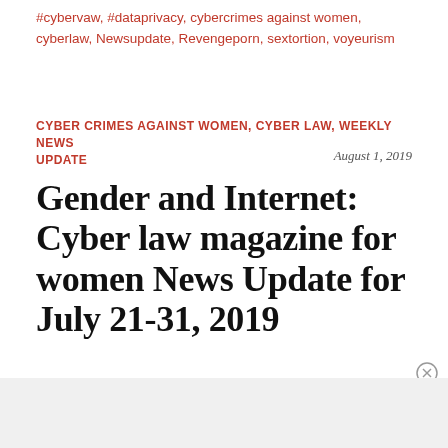#cybervaw, #dataprivacy, cybercrimes against women, cyberlaw, Newsupdate, Revengeporn, sextortion, voyeurism
CYBER CRIMES AGAINST WOMEN, CYBER LAW, WEEKLY NEWS UPDATE
August 1, 2019
Gender and Internet: Cyber law magazine for women News Update for July 21-31, 2019
[Figure (screenshot): DuckDuckGo advertisement banner with orange background showing 'Search, browse, and email with more privacy. All in One Free App' with phone graphic and DuckDuckGo logo]